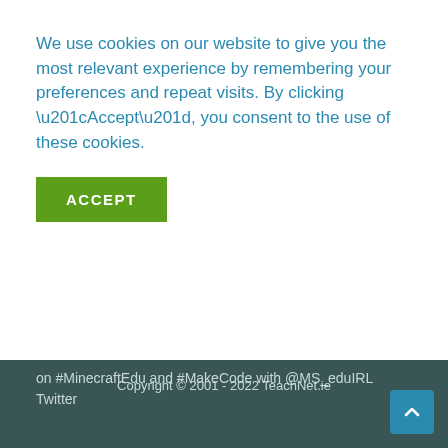We use cookies on our website to give you the most relevant experience by remembering your preferences and repeat visits. By clicking “Accept”, you consent to the use of these cookies.
ACCEPT
on #MinecraftEdu and #MakeCode with @MS_eduIRL
Twitter
[Figure (logo): h2 Learning logo with stylized h2 icon in blue and white text on dark teal background]
Copyright © 2001 - 2022 TeachNet.ie